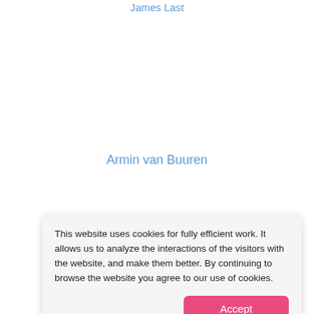James Last
Armin van Buuren
This website uses cookies for fully efficient work. It allows us to analyze the interactions of the visitors with the website, and make them better. By continuing to browse the website you agree to our use of cookies.
Accept